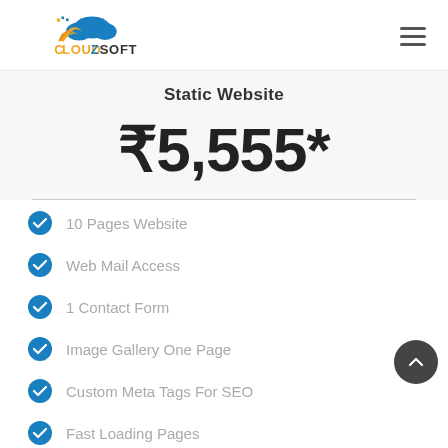CloudZSoft logo and navigation
Static Website
₹5,555*
10 Pages Website
Web Mail Access
1 Contact Form
Image Gallery One Page
Custom Meta Tags For SEO
Fast Loading Pages